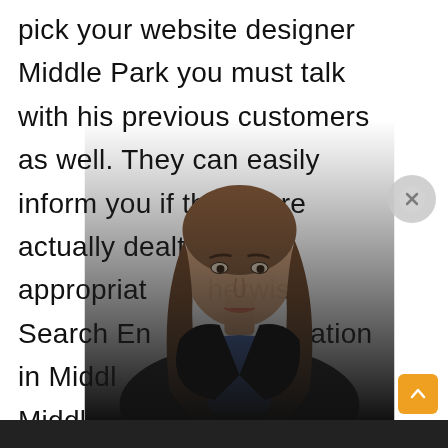pick your website designer Middle Park you must talk with his previous customers as well. They can easily inform you if they were actually dealt with appropriately otherwise Search Engine Optimization in Middle Park also SEO Middle Park can easily
[Figure (photo): A woman with long brown hair wearing a blue top and black blazer, overlaid on top of text content, partially obscuring lines of text]